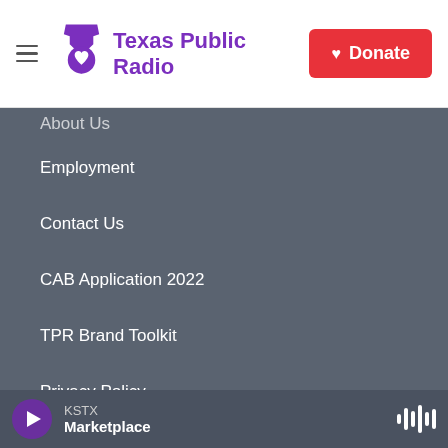[Figure (logo): Texas Public Radio logo with purple Texas/speech bubble icon and purple text, and a red Donate button with heart icon]
About Us
Employment
Contact Us
CAB Application 2022
TPR Brand Toolkit
Privacy Policy
Financial Reports
Public Inspection Files
FCC Applications
KSTX
Marketplace